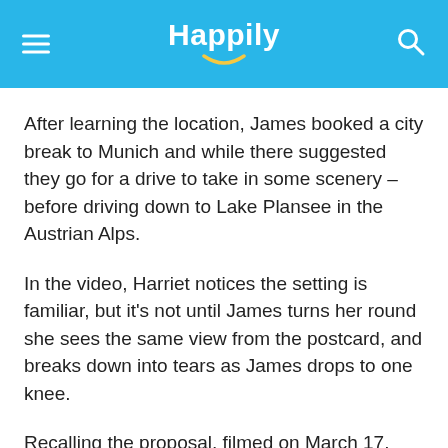Happily
After learning the location, James booked a city break to Munich and while there suggested they go for a drive to take in some scenery – before driving down to Lake Plansee in the Austrian Alps.
In the video, Harriet notices the setting is familiar, but it's not until James turns her round she sees the same view from the postcard, and breaks down into tears as James drops to one knee.
Recalling the proposal, filmed on March 17, James said: “The card and the words “The Best Is Yet To Come” came at quite a significant moment in our relationship as we had both declared how we felt for